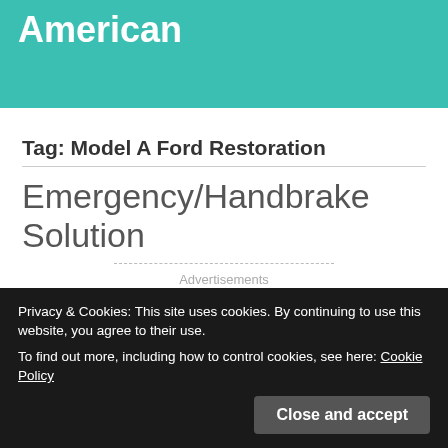American
Tag: Model A Ford Restoration
Emergency/Handbrake Solution
Advertisements
Privacy & Cookies: This site uses cookies. By continuing to use this website, you agree to their use.
To find out more, including how to control cookies, see here: Cookie Policy
Close and accept